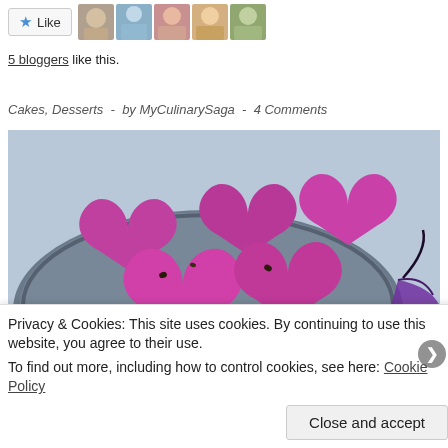[Figure (other): Like button with star icon and 5 avatar photos of bloggers]
5 bloggers like this.
Cakes, Desserts  -  by MyCulinarySaga  -  4 Comments
[Figure (photo): Photo of pink/purple heart-shaped baked goods on a decorative metal tray with a small decorative plate and purple pouch]
Privacy & Cookies: This site uses cookies. By continuing to use this website, you agree to their use.
To find out more, including how to control cookies, see here: Cookie Policy
Close and accept